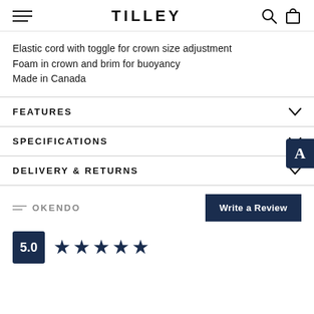TILLEY
Elastic cord with toggle for crown size adjustment
Foam in crown and brim for buoyancy
Made in Canada
FEATURES
SPECIFICATIONS
DELIVERY & RETURNS
OKENDO
Write a Review
5.0